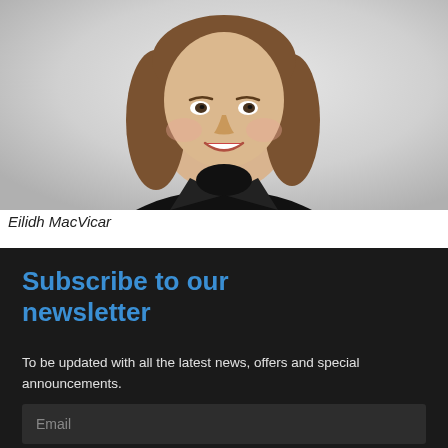[Figure (photo): Professional headshot of a smiling woman with long brown hair, wearing a black blazer and black top, against a light gray gradient background.]
Eilidh MacVicar
Subscribe to our newsletter
To be updated with all the latest news, offers and special announcements.
Email